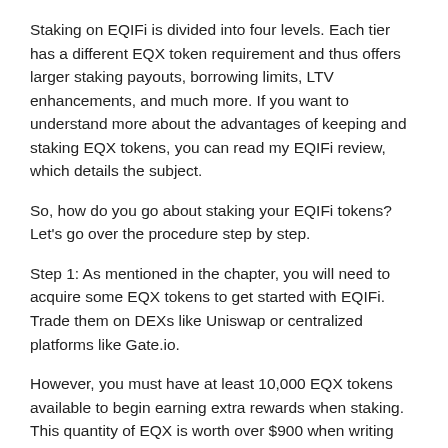Staking on EQIFi is divided into four levels. Each tier has a different EQX token requirement and thus offers larger staking payouts, borrowing limits, LTV enhancements, and much more. If you want to understand more about the advantages of keeping and staking EQX tokens, you can read my EQIFi review, which details the subject.
So, how do you go about staking your EQIFi tokens? Let's go over the procedure step by step.
Step 1: As mentioned in the chapter, you will need to acquire some EQX tokens to get started with EQIFi. Trade them on DEXs like Uniswap or centralized platforms like Gate.io.
However, you must have at least 10,000 EQX tokens available to begin earning extra rewards when staking. This quantity of EQX is worth over $900 when writing